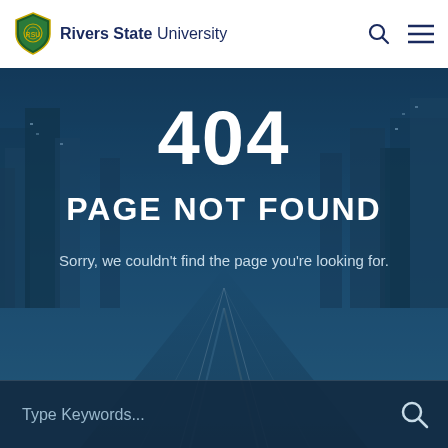Rivers State University
404
PAGE NOT FOUND
Sorry, we couldn't find the page you're looking for.
Type Keywords...